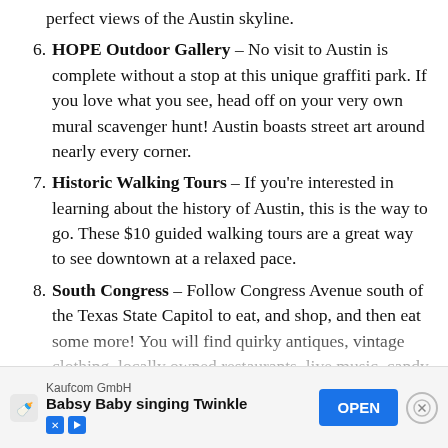perfect views of the Austin skyline.
6. HOPE Outdoor Gallery – No visit to Austin is complete without a stop at this unique graffiti park. If you love what you see, head off on your very own mural scavenger hunt! Austin boasts street art around nearly every corner.
7. Historic Walking Tours – If you're interested in learning about the history of Austin, this is the way to go. These $10 guided walking tours are a great way to see downtown at a relaxed pace.
8. South Congress – Follow Congress Avenue south of the Texas State Capitol to eat, and shop, and then eat some more! You will find quirky antiques, vintage clothing, locally owned restaurants, live music, candy shops, a cupcake trailer, cowboy boots, coffee shops, murals, and more. Bring your camera, and your appetite!
9. Ta... ...und cui... ...living...
[Figure (other): Advertisement banner: Kaufcom GmbH – Babsy Baby singing Twinkle, with OPEN button]